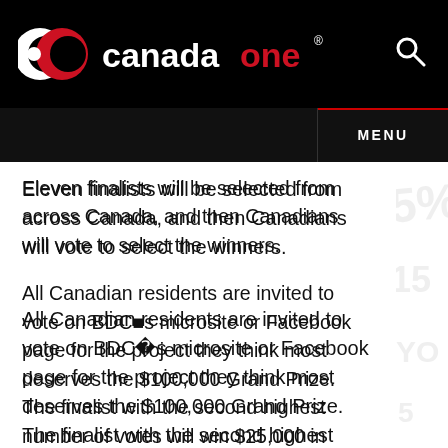canadaone
Eleven finalists will be selected from across Canada, and then Canadians will vote to select the winners.
All Canadian residents are invited to vote on BDC�s microsite or Facebook page for the project they think most deserves the $100,000 Grand Prize. The finalist with the second highest number of votes will win $25,000 in consulting services.
What if you win?
The winner will be awarded the grand prize,